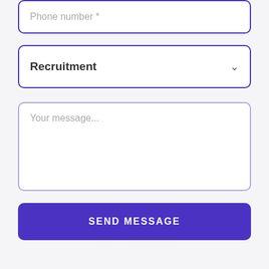[Figure (screenshot): Phone number input field with purple border, placeholder text 'Phone number *']
[Figure (screenshot): Dropdown select field with purple border showing 'Recruitment' and a chevron arrow]
[Figure (screenshot): Textarea with light purple border showing placeholder 'Your message...']
[Figure (screenshot): Submit button with solid purple background and white text 'SEND MESSAGE']